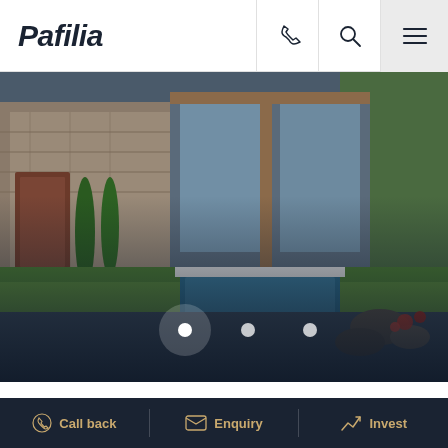Pafilia
[Figure (screenshot): Pafilia real estate website header with logo, phone icon, search icon, and hamburger menu icon]
[Figure (photo): Exterior photo of a modern luxury villa with stone facade, glass panels, landscaped garden, pool area, and trees in background. Image carousel with navigation dots visible at bottom.]
Your choice regarding cookies on this site
We use cookies to optimise site functionality and give you the best possible experience.
Call back | Enquiry | Invest